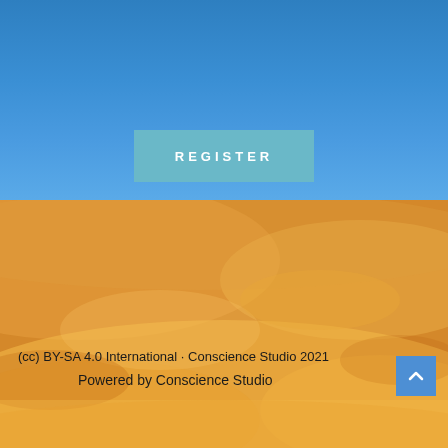[Figure (screenshot): Top section with blue gradient background and a teal/light blue REGISTER button centered, showing partial text above (cut off at top)]
[Figure (photo): Desert landscape background image with sandy orange and golden tones, textured dune surface visible]
(cc) BY-SA 4.0 International · Conscience Studio 2021
Powered by Conscience Studio